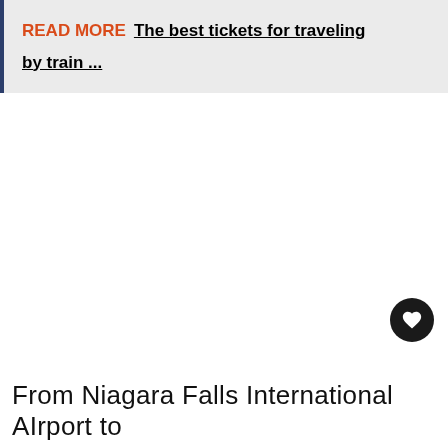READ MORE  The best tickets for traveling by train ...
From Niagara Falls International AIrport to